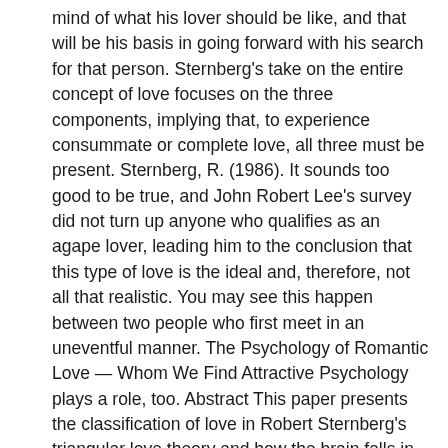mind of what his lover should be like, and that will be his basis in going forward with his search for that person. Sternberg's take on the entire concept of love focuses on the three components, implying that, to experience consummate or complete love, all three must be present. Sternberg, R. (1986). It sounds too good to be true, and John Robert Lee's survey did not turn up anyone who qualifies as an agape lover, leading him to the conclusion that this type of love is the ideal and, therefore, not all that realistic. You may see this happen between two people who first meet in an uneventful manner. The Psychology of Romantic Love — Whom We Find Attractive Psychology plays a role, too. Abstract This paper presents the classification of love in Robert Sternberg's triangular love theory and how the brain falls in love within the three components of love. Having your lovemap or checklist of criteria is not enough. This makes her, in his eyes, someone worth more than a second and third look. Our self-esteem, mental and emotional health, life experiences, and family relations all ... For example, a person who has always spent his life alone, without being needed by anyone, may appreciate being on the receiving end of a manic type of love. We can speculate that all love relationships would have high levels of